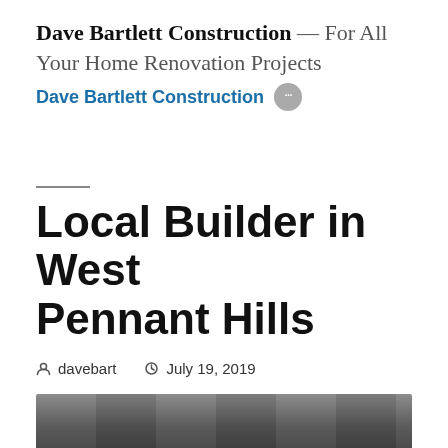Dave Bartlett Construction — For All Your Home Renovation Projects
Dave Bartlett Construction •••
Local Builder in West Pennant Hills
davebart   July 19, 2019
[Figure (photo): Partial view of a construction or renovation photo at the bottom of the page]